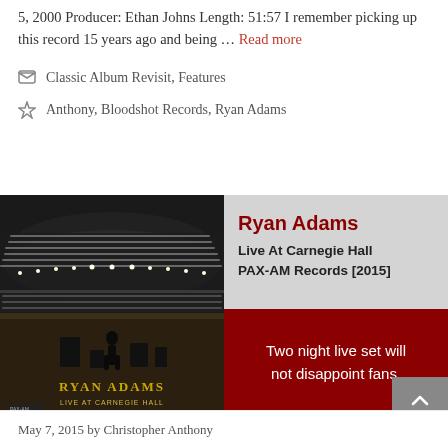5, 2000 Producer: Ethan Johns Length: 51:57 I remember picking up this record 15 years ago and being … Read more
Classic Album Revisit, Features
Anthony, Bloodshot Records, Ryan Adams
[Figure (photo): Ryan Adams Live At Carnegie Hall album cover — black and white photo of Carnegie Hall interior with audience and stage, with gold text overlay reading RYAN ADAMS LIVE AT CARNEGIE HALL]
Ryan Adams
Live At Carnegie Hall
PAX-AM Records [2015]
Two night live set will not disappoint fans.
May 7, 2015 by Christopher Anthony